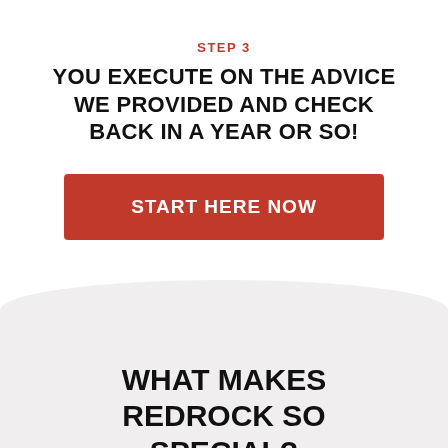STEP 3
YOU EXECUTE ON THE ADVICE WE PROVIDED AND CHECK BACK IN A YEAR OR SO!
[Figure (other): Red call-to-action button with text START HERE NOW]
WHAT MAKES REDROCK SO SPECIAL?